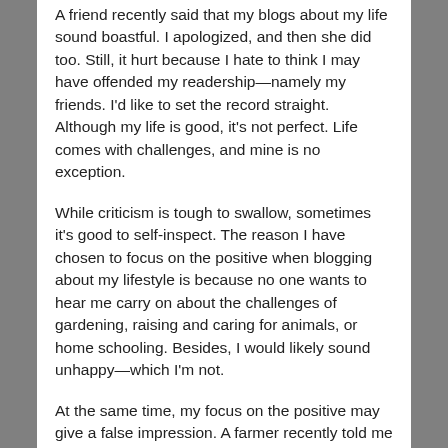A friend recently said that my blogs about my life sound boastful. I apologized, and then she did too. Still, it hurt because I hate to think I may have offended my readership—namely my friends. I'd like to set the record straight. Although my life is good, it's not perfect. Life comes with challenges, and mine is no exception.
While criticism is tough to swallow, sometimes it's good to self-inspect. The reason I have chosen to focus on the positive when blogging about my lifestyle is because no one wants to hear me carry on about the challenges of gardening, raising and caring for animals, or home schooling. Besides, I would likely sound unhappy—which I'm not.
At the same time, my focus on the positive may give a false impression. A farmer recently told me that people too often imagine farm life as skipping through the garden with a basket of flowers. Not hardly.
While I still view farm life in a romantic light, it comes with its fair share of blood, sweat, and tears...and challenges. Consider animals. Most adults understand the responsibility that comes with pets. Livestock is quite